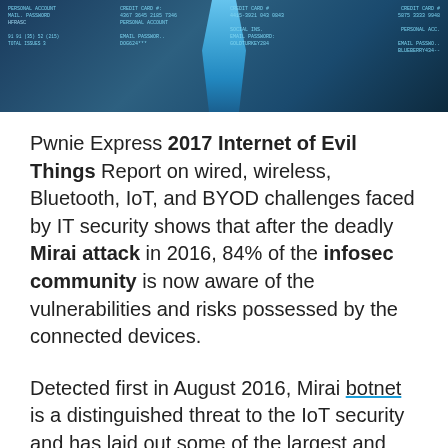[Figure (photo): A person walking with overlaid hacking/data breach related HUD text showing credit card numbers, personal account info, email passwords, social insurance numbers on a dark background]
Pwnie Express 2017 Internet of Evil Things Report on wired, wireless, Bluetooth, IoT, and BYOD challenges faced by IT security shows that after the deadly Mirai attack in 2016, 84% of the infosec community is now aware of the vulnerabilities and risks possessed by the connected devices.
Detected first in August 2016, Mirai botnet is a distinguished threat to the IoT security and has laid out some of the largest and most disruptive distributed denial of service (DDoS) attacks. Notable attacks include 20 September 2016…